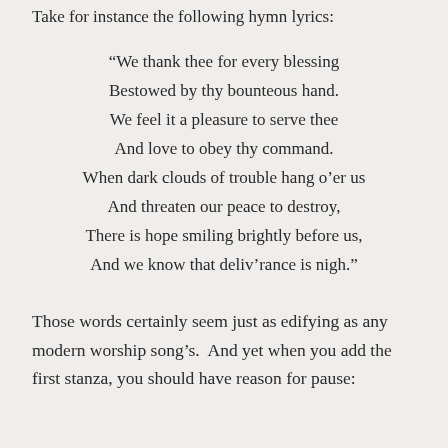Take for instance the following hymn lyrics:
“We thank thee for every blessing
Bestowed by thy bounteous hand.
We feel it a pleasure to serve thee
And love to obey thy command.
When dark clouds of trouble hang o’er us
And threaten our peace to destroy,
There is hope smiling brightly before us,
And we know that deliv’rance is nigh.”
Those words certainly seem just as edifying as any modern worship song’s.  And yet when you add the first stanza, you should have reason for pause: